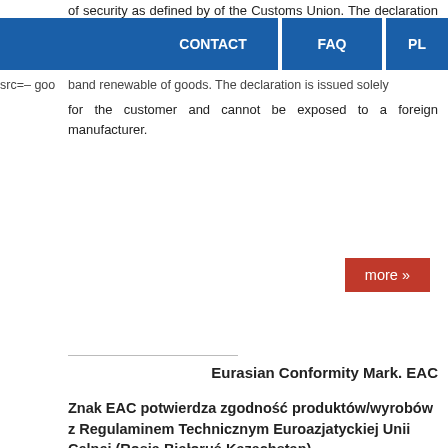of security as defined by of the Customs Union. The declaration is issued at customs at the border goods and renewable of goods. The declaration is issued solely for the customer and cannot be exposed to a foreign manufacturer.
CONTACT   FAQ   PL
more »
Eurasian Conformity Mark. EAC
Znak EAC potwierdza zgodność produktów/wyrobów z Regulaminem Technicznym Euroazjatyckiej Unii Celnej (Rosja Białoruś Kazachstan).
Produkty, które mają być wprowadzone na rynek Unii Celnej po raz pierwszy, podlegają ocenie zgodności zgodnie z Regulaminem Technicznym Euroazjatyckiej Unii Gospodarczej w formie certyfikatu EAC lub deklaracji. Jeśli kontrola zgodności zakończy się powodzeniem, produkty muszą być oznaczone znakiem zgodności EAC. EAC to skrót od Euroasian Conformity i jest bardzo podobny do europejskiego oznakowania CE. Oznakowanie EAC jest niezbędne, aby poinformować